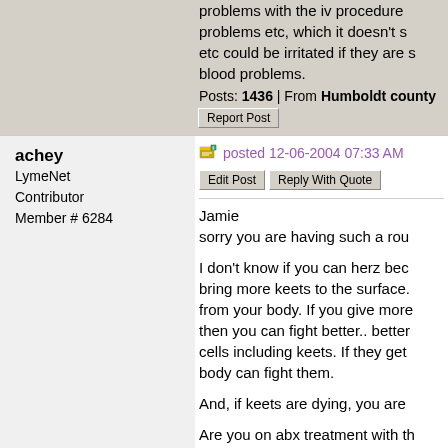problems with the iv procedure problems etc, which it doesn't s etc could be irritated if they are s blood problems.
Posts: 1436 | From Humboldt county ca
Report Post
achey
LymeNet Contributor
Member # 6284
posted 12-06-2004 07:33 AM
Edit Post
Reply With Quote
Jamie
sorry you are having such a rou

I don't know if you can herz bec bring more keets to the surface. from your body. If you give more then you can fight better.. better cells including keets. If they get body can fight them.

And, if keets are dying, you are

Are you on abx treatment with th

I do a myers drip (mg and other couple days of syptom releif. no

Make sure you are communicati